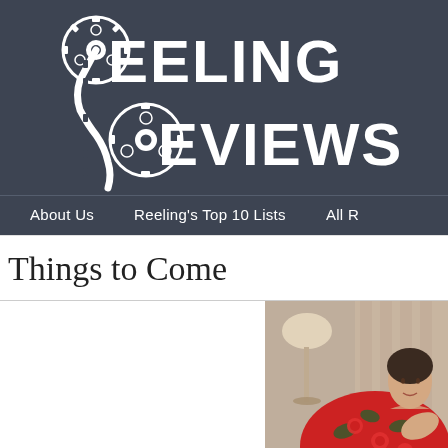[Figure (logo): Reeling Reviews logo with two film reels and film strip, text 'REELING REVIEWS' in white on dark slate background]
About Us    Reeling's Top 10 Lists    All R
Things to Come
[Figure (photo): Woman in floral red and green dress reclining, interior setting with lamp visible in background]